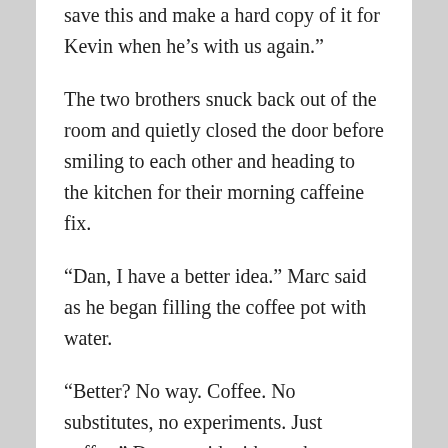save this and make a hard copy of it for Kevin when he’s with us again.”
The two brothers snuck back out of the room and quietly closed the door before smiling to each other and heading to the kitchen for their morning caffeine fix.
“Dan, I have a better idea.” Marc said as he began filling the coffee pot with water.
“Better? No way. Coffee. No substitutes, no experiments. Just coffee.” Danny said with mock sarcasm.